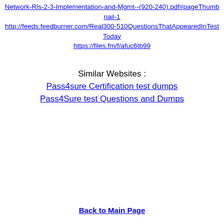Network-Rls-2-3-Implementation-and-Mgmt--(920-240).pdf#pageThumbnail-1
http://feeds.feedburner.com/Real300-510QuestionsThatAppearedInTestToday
https://files.fm/f/afuc6tb99
Similar Websites :
Pass4sure Certification test dumps
Pass4Sure test Questions and Dumps
Back to Main Page